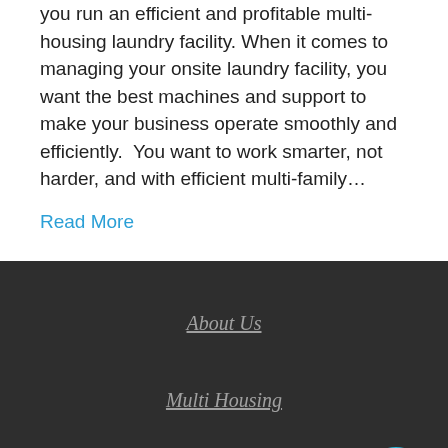you run an efficient and profitable multi-housing laundry facility. When it comes to managing your onsite laundry facility, you want the best machines and support to make your business operate smoothly and efficiently.  You want to work smarter, not harder, and with efficient multi-family…
Read More
About Us
Multi Housing
Sales